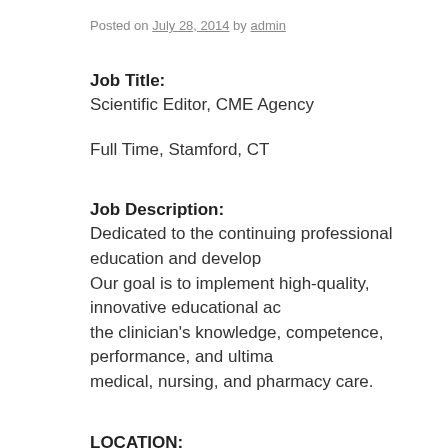Posted on July 28, 2014 by admin
Job Title:
Scientific Editor, CME Agency
Full Time, Stamford, CT
Job Description:
Dedicated to the continuing professional education and development of healthcare professionals. Our goal is to implement high-quality, innovative educational activities that improve the clinician's knowledge, competence, performance, and ultimately, the quality of medical, nursing, and pharmacy care.
LOCATION:
Stamford, CT (easily commutable from NYC – within 2 blocks
DESCRIPTION:
A dynamic and unique medical education company based in Stamford seeks a midlevel scientific editor with prior medical publishing, medical